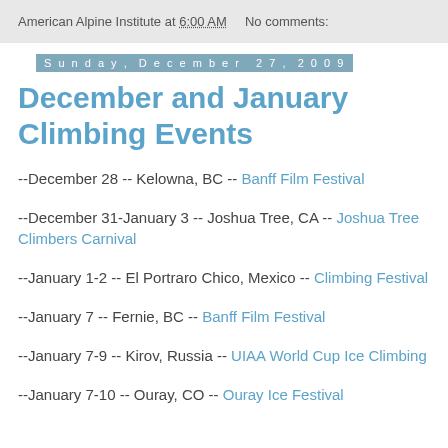American Alpine Institute at 6:00 AM   No comments:
Sunday, December 27, 2009
December and January Climbing Events
--December 28 -- Kelowna, BC -- Banff Film Festival
--December 31-January 3 -- Joshua Tree, CA -- Joshua Tree Climbers Carnival
--January 1-2 -- El Portraro Chico, Mexico -- Climbing Festival
--January 7 -- Fernie, BC -- Banff Film Festival
--January 7-9 -- Kirov, Russia -- UIAA World Cup Ice Climbing
--January 7-10 -- Ouray, CO -- Ouray Ice Festival